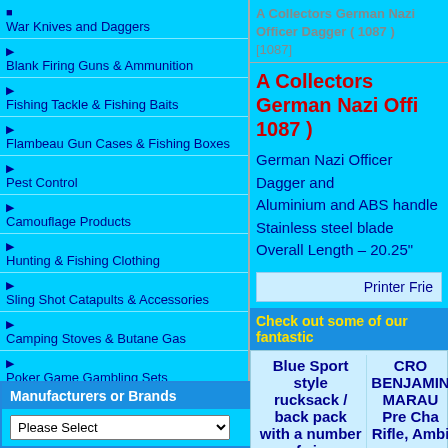■ War Knives and Daggers
▶ Blank Firing Guns & Ammunition
▶ Fishing Tackle & Fishing Baits
▶ Flambeau Gun Cases & Fishing Boxes
▶ Pest Control
▶ Camouflage Products
▶ Hunting & Fishing Clothing
▶ Sling Shot Catapults & Accessories
▶ Camping Stoves & Butane Gas
▶ Poker Game Gambling Sets
▶ Paper Gloss & Matte
▶ Printer Cables
▶ DIY & Household Accessories
▶ Hand Held Security Scanners & Ground Metal Detectors
▶ Cigarette Filter Tips, Cigarette Papers, Rolling Machines
▶ TV, Phone, Audio Accessories
▶ Managers Specials
View All Products
Manufacturers or Brands
Please Select
A Collectors German Nazi Officer Dagger ( 1087 ) [1087]
A Collectors German Nazi Officer Dagger ( 1087 )
German Nazi Officer Dagger and Scabbard
Aluminium and ABS handle
Stainless steel blade
Overall Length – 20.25"
Printer Friendly
Check out some of our fantastic
Blue Sport style rucksack / back pack with a number of zips storage compartments and
CROSSMAN BENJAMIN MARAUDER Pre Charged Rifle, Ambi